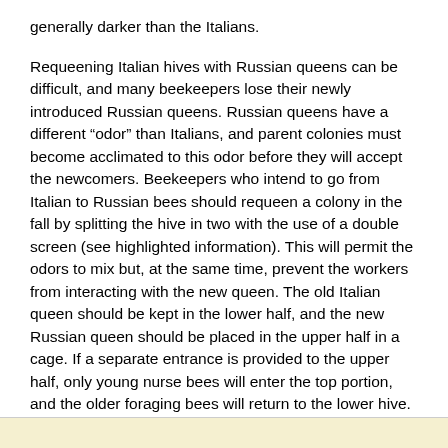generally darker than the Italians.
Requeening Italian hives with Russian queens can be difficult, and many beekeepers lose their newly introduced Russian queens. Russian queens have a different “odor” than Italians, and parent colonies must become acclimated to this odor before they will accept the newcomers. Beekeepers who intend to go from Italian to Russian bees should requeen a colony in the fall by splitting the hive in two with the use of a double screen (see highlighted information). This will permit the odors to mix but, at the same time, prevent the workers from interacting with the new queen. The old Italian queen should be kept in the lower half, and the new Russian queen should be placed in the upper half in a cage. If a separate entrance is provided to the upper half, only young nurse bees will enter the top portion, and the older foraging bees will return to the lower hive.